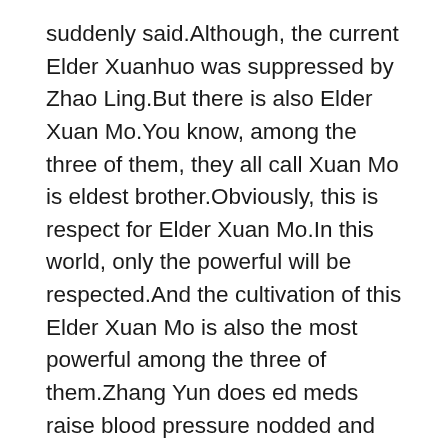suddenly said.Although, the current Elder Xuanhuo was suppressed by Zhao Ling.But there is also Elder Xuan Mo.You know, among the three of them, they all call Xuan Mo is eldest brother.Obviously, this is respect for Elder Xuan Mo.In this world, only the powerful will be respected.And the cultivation of this Elder Xuan Mo is also the most powerful among the three of them.Zhang Yun does ed meds raise blood pressure nodded and continued to look above the sky.Zhao Ling was able to overwhelm Elder Xuanhuo.Zhang Feng looked up at the sky and said excitedly.Originally, they were not optimistic about Zhao Ling.However, the strength Zhao Ling showed later, and the situation on the scene, had to make them optimistic.
And some people like Zhao Ziqiang are also in the Panshan tribe.Ling er, why are you back Zhao Ziqiang saw Zhao Ling and asked in a deep voice.During the discussion, Zhao Ziqiang was also present.Knowing that Zhao Ling is going to retreat and practice.And Zhao Ziqiang is cultivation is always in the